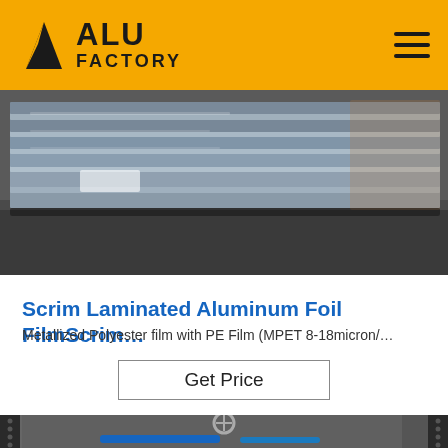ALU FACTORY
[Figure (photo): Stack of aluminum foil film sheets in a warehouse/industrial setting, metallic silver color]
Scrim Laminated Aluminum Foil FilmScrim…
Metallized Polyester film with PE Film (MPET 8-18micron/…
Get Price
[Figure (photo): Industrial laminating/rolling machine with blue hoses and a wheel valve, TOP button visible in upper right corner]